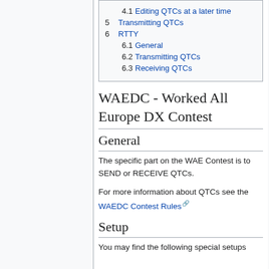4.1 Editing QTCs at a later time
5 Transmitting QTCs
6 RTTY
6.1 General
6.2 Transmitting QTCs
6.3 Receiving QTCs
WAEDC - Worked All Europe DX Contest
General
The specific part on the WAE Contest is to SEND or RECEIVE QTCs.
For more information about QTCs see the WAEDC Contest Rules
Setup
You may find the following special setups